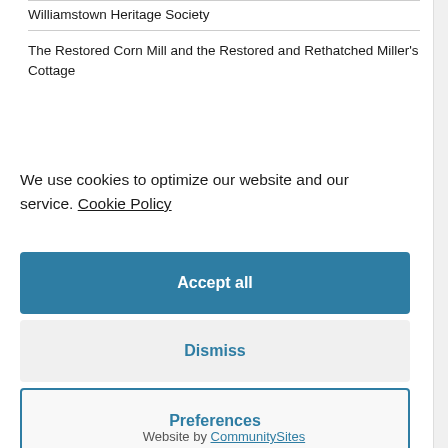| Williamstown Heritage Society |
| The Restored Corn Mill and the Restored and Rethatched Miller's Cottage |
We use cookies to optimize our website and our service. Cookie Policy
Accept all
Dismiss
Preferences
Website by CommunitySites